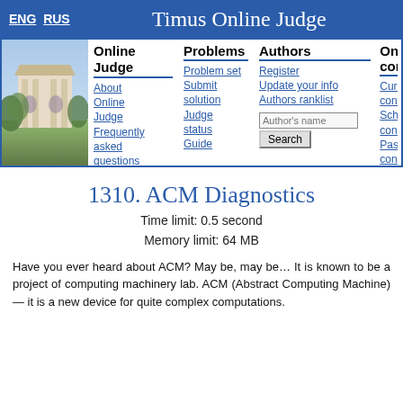ENG  RUS    Timus Online Judge
[Figure (screenshot): Navigation menu of Timus Online Judge website with sections: Online Judge (About, Frequently asked questions, Site news, Webboard, Links), Problems (Problem set, Submit solution, Judge status, Guide), Authors (Register, Update your info, Authors ranklist, Author's name search), and Online contests (partially visible: Current contest, Schedule, Past contests, Rules)]
1310. ACM Diagnostics
Time limit: 0.5 second
Memory limit: 64 MB
Have you ever heard about ACM? May be, may be… It is known to be a project of computing machinery lab. ACM (Abstract Computing Machine) — it is a new device for quite complex computations.